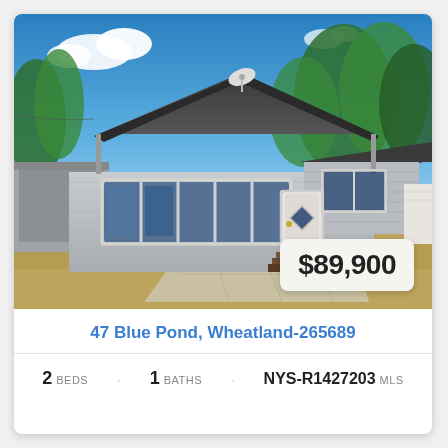[Figure (photo): Exterior photo of a small single-story ranch house with gray vinyl siding, large front windows, white front door with diamond-shaped window, concrete patio, brown dry grass yard, blue sky with clouds and trees in background. A satellite dish is visible on the roof. Price badge overlay shows $89,900.]
47 Blue Pond, Wheatland-265689
2 BEDS   1 BATHS   NYS-R1427203 MLS